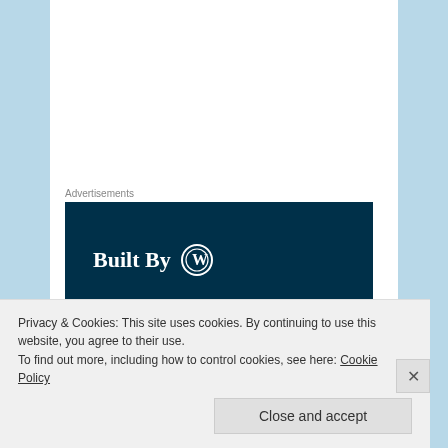Advertisements
[Figure (illustration): WordPress 'Built By' advertisement banner with dark navy background showing 'Built By' text with WordPress logo and partial text below]
“The only thing is that it’s in upstate New York.”
“So I can’t go there. It snows too much.”
“Let’s just visit. They have everything you want. You can tolerate the snow for five years!”
Privacy & Cookies: This site uses cookies. By continuing to use this website, you agree to their use.
To find out more, including how to control cookies, see here: Cookie Policy
Close and accept